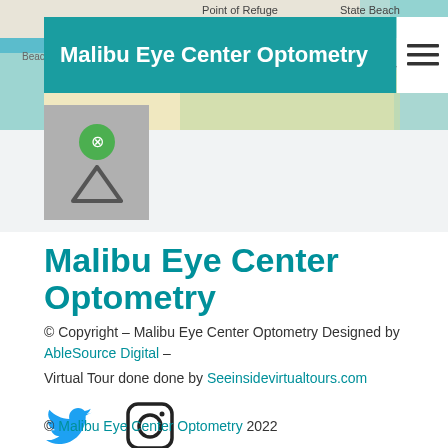[Figure (screenshot): Map background showing coastal area with Point of Refuge and State Beach labels]
Malibu Eye Center Optometry
Malibu Eye Center Optometry
© Copyright – Malibu Eye Center Optometry Designed by AbleSource Digital –
Virtual Tour done done by Seeinsidevirtualtours.com
[Figure (illustration): Twitter bird icon and Instagram camera icon]
© Malibu Eye Center Optometry 2022